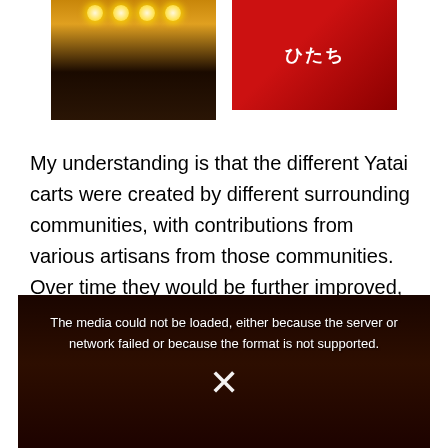[Figure (photo): Photograph of a Japanese festival scene with bright hanging lanterns and crowd below, dark interior]
[Figure (photo): Image of a red and black mascot character with Japanese text on a white background]
My understanding is that the different Yatai carts were created by different surrounding communities, with contributions from various artisans from those communities. Over time they would be further improved, and with a bit of competition between the communities the carts would become even more beautiful.
[Figure (other): Video player showing error message: The media could not be loaded, either because the server or network failed or because the format is not supported. An X icon is shown below the message over a dark background showing a festival scene.]